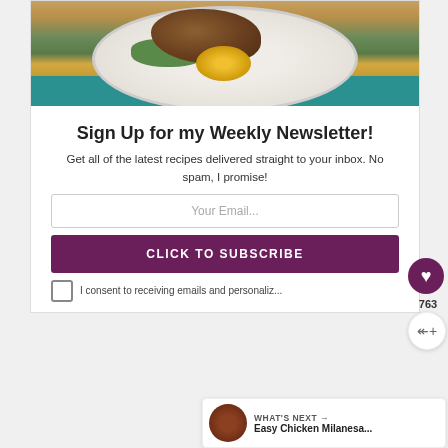[Figure (photo): Food photo showing a plate with seasoned chicken, green salad leaves, and yellow squash slices on a white plate with teal cloth background]
Sign Up for my Weekly Newsletter!
Get all of the latest recipes delivered straight to your inbox. No spam, I promise!
Your Email...
CLICK TO SUBSCRIBE
I consent to receiving emails and personalized ads.